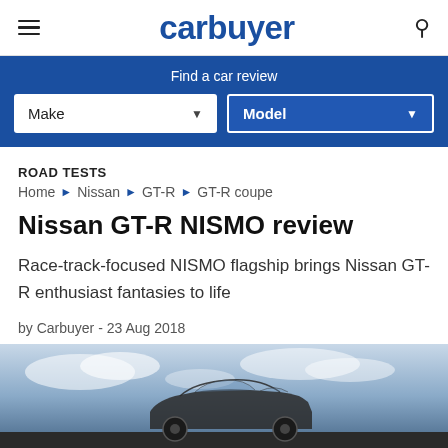carbuyer
Find a car review
Make  Model
ROAD TESTS
Home › Nissan › GT-R › GT-R coupe
Nissan GT-R NISMO review
Race-track-focused NISMO flagship brings Nissan GT-R enthusiast fantasies to life
by Carbuyer  -  23 Aug 2018
[Figure (photo): Nissan GT-R NISMO car photograph, partial view from front/side angle against cloudy sky background]